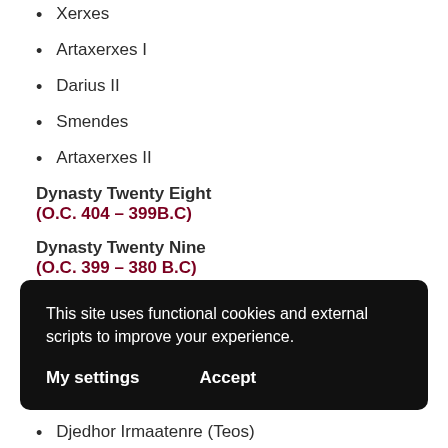Xerxes
Artaxerxes I
Darius II
Smendes
Artaxerxes II
Dynasty Twenty Eight (O.C. 404 – 399B.C)
Dynasty Twenty Nine (O.C. 399 – 380 B.C)
This site uses functional cookies and external scripts to improve your experience.
My settings   Accept
Djedhor Irmaatenre (Teos)